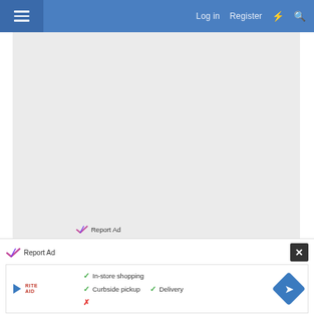Log in  Register
[Figure (screenshot): Gray advertisement placeholder area with Report Ad link at bottom]
22 Jan 2022  #7
Gordon Tarling
Report Ad
[Figure (infographic): Ad overlay showing In-store shopping, Curbside pickup, Delivery options with checkmarks]